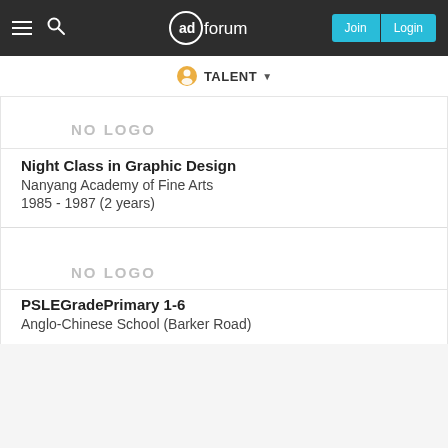adforum — Join | Login
TALENT ▾
NO LOGO
Night Class in Graphic Design
Nanyang Academy of Fine Arts
1985 - 1987 (2 years)
NO LOGO
PSLEGradePrimary 1-6
Anglo-Chinese School (Barker Road)